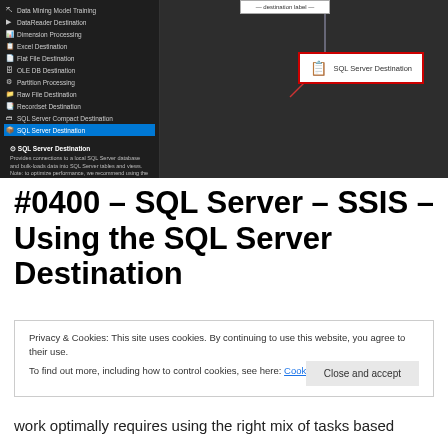[Figure (screenshot): Screenshot of SQL Server Integration Services (SSIS) designer showing a dark-themed toolbar on the left with items including Data Mining Model Training, DataReader Destination, Dimension Processing, Excel Destination, Flat File Destination, OLE DB Destination, Partition Processing, Raw File Destination, Recordset Destination, SQL Server Compact Destination, and SQL Server Destination (highlighted in blue). The right panel shows a design canvas with a SQL Server Destination box outlined in red. An info panel at the bottom describes the SQL Server Destination component.]
#0400 – SQL Server – SSIS – Using the SQL Server Destination
Privacy & Cookies: This site uses cookies. By continuing to use this website, you agree to their use.
To find out more, including how to control cookies, see here: Cookie Policy
work optimally requires using the right mix of tasks based